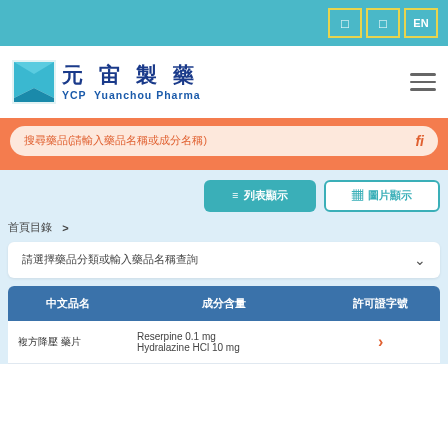Language selector: icon icon EN
[Figure (logo): YCP Yuanchou Pharma logo with Chinese characters 元宙製藥 and teal envelope icon]
搜尋藥品(請輸入藥品名稱或成分名稱)
篩選條件 >
列表顯示
圖片顯示
請選擇藥品分類或輸入藥品名稱查詢
| 中文品名 | 成分含量 | 許可證字號 |
| --- | --- | --- |
| 複方降壓 藥片 | Reserpine 0.1 mg
Hydralazine HCl 10 mg |  |